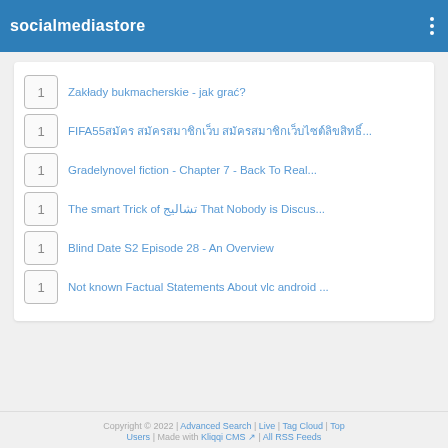socialmediastore
1  Zakłady bukmacherskie - jak grać?
1  FIFA55สมัคร สมัครสมาชิกเว็บ สมัครสมาชิกเว็บไซต์ลิขสิทธิ์...
1  Gradelynovel fiction - Chapter 7 - Back To Real...
1  The smart Trick of تشالیج That Nobody is Discus...
1  Blind Date S2 Episode 28 - An Overview
1  Not known Factual Statements About vlc android ...
Copyright © 2022 | Advanced Search | Live | Tag Cloud | Top Users | Made with Kliqqi CMS | All RSS Feeds